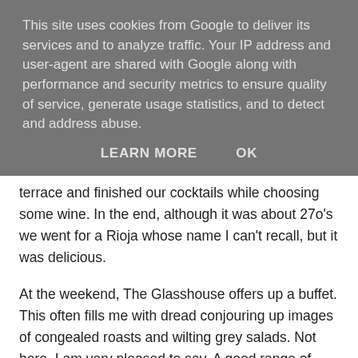This site uses cookies from Google to deliver its services and to analyze traffic. Your IP address and user-agent are shared with Google along with performance and security metrics to ensure quality of service, generate usage statistics, and to detect and address abuse.
LEARN MORE   OK
terrace and finished our cocktails while choosing some wine. In the end, although it was about 27o's we went for a Rioja whose name I can't recall, but it was delicious.
At the weekend, The Glasshouse offers up a buffet. This often fills me with dread conjouring up images of congealed roasts and wilting grey salads. Not here, I am very pleased to say. A good range of salads, meats, fish and desserts all displayed in small quantities which were replaced the moment they ran low so the food was not on display too long. Alongside the usual suspects , there were sweetbreads on fried bread, individual Caesar salads served in the natural bowl of a leaf of baby gem lettuce, duck confit with crisp skin and melting flesh and a really rather splendid passion fruit